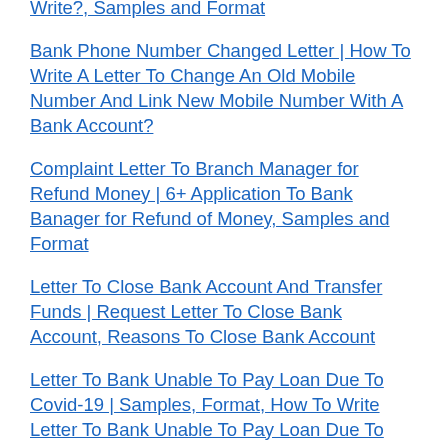Write?, Samples and Format
Bank Phone Number Changed Letter | How To Write A Letter To Change An Old Mobile Number And Link New Mobile Number With A Bank Account?
Complaint Letter To Branch Manager for Refund Money | 6+ Application To Bank Banager for Refund of Money, Samples and Format
Letter To Close Bank Account And Transfer Funds | Request Letter To Close Bank Account, Reasons To Close Bank Account
Letter To Bank Unable To Pay Loan Due To Covid-19 | Samples, Format, How To Write Letter To Bank Unable To Pay Loan Due To Covid-19?